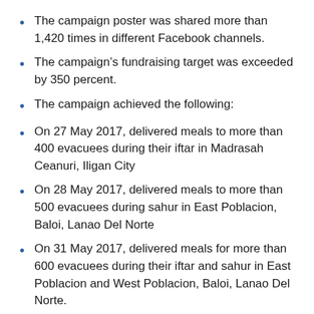The campaign poster was shared more than 1,420 times in different Facebook channels.
The campaign’s fundraising target was exceeded by 350 percent.
The campaign achieved the following:
On 27 May 2017, delivered meals to more than 400 evacuees during their iftar in Madrasah Ceanuri, Iligan City
On 28 May 2017, delivered meals to more than 500 evacuees during sahur in East Poblacion, Baloi, Lanao Del Norte
On 31 May 2017, delivered meals for more than 600 evacuees during their iftar and sahur in East Poblacion and West Poblacion, Baloi, Lanao Del Norte.